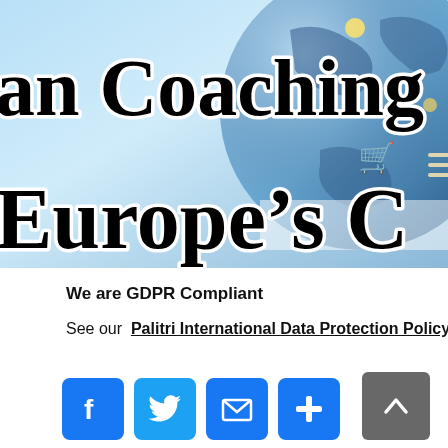[Figure (screenshot): Website header banner showing partial text 'an Coaching' on first line and 'Europe's C' on second line in large serif bold font with white text stroke, over a light blue sky and globe background. Shopping cart and hamburger menu icons visible in upper right.]
We are GDPR Compliant
See our  Palitri International Data Protection Policy
[Figure (infographic): Social sharing buttons row: Facebook (blue f icon), Twitter (blue bird icon), Email (blue envelope icon), Share/Plus (blue plus icon). Back-to-top button (dark gray with upward chevron) on the right.]